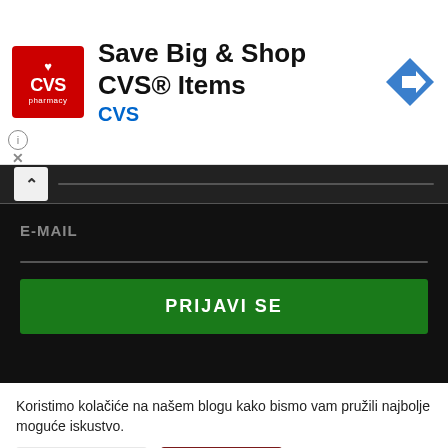[Figure (screenshot): CVS Pharmacy advertisement banner with red CVS pharmacy logo, text 'Save Big & Shop CVS® Items', 'CVS' link in blue, and blue diamond-shaped arrow icon on the right. Info circle and X close button at bottom left.]
[Figure (screenshot): Dark-themed web form section with a white caret-up button, 'E-MAIL' label in grey, a horizontal divider line, and a dark green 'PRIJAVI SE' button.]
Koristimo kolačiće na našem blogu kako bismo vam pružili najbolje moguće iskustvo.
Podešavanja   Prihvati sve